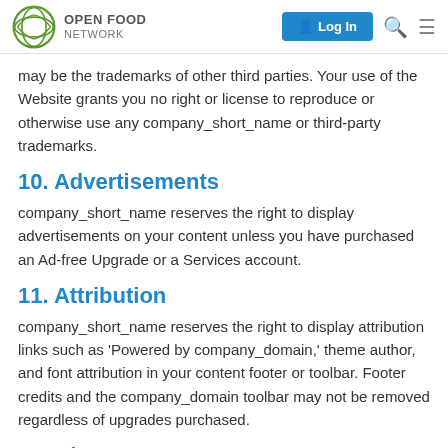Open Food Network — Log In
may be the trademarks of other third parties. Your use of the Website grants you no right or license to reproduce or otherwise use any company_short_name or third-party trademarks.
10. Advertisements
company_short_name reserves the right to display advertisements on your content unless you have purchased an Ad-free Upgrade or a Services account.
11. Attribution
company_short_name reserves the right to display attribution links such as 'Powered by company_domain,' theme author, and font attribution in your content footer or toolbar. Footer credits and the company_domain toolbar may not be removed regardless of upgrades purchased.
12. Changes